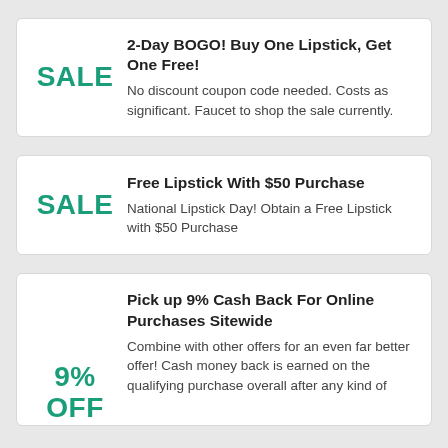2-Day BOGO! Buy One Lipstick, Get One Free!
No discount coupon code needed. Costs as significant. Faucet to shop the sale currently.
Free Lipstick With $50 Purchase
National Lipstick Day! Obtain a Free Lipstick with $50 Purchase
Pick up 9% Cash Back For Online Purchases Sitewide
Combine with other offers for an even far better offer! Cash money back is earned on the qualifying purchase overall after any kind of